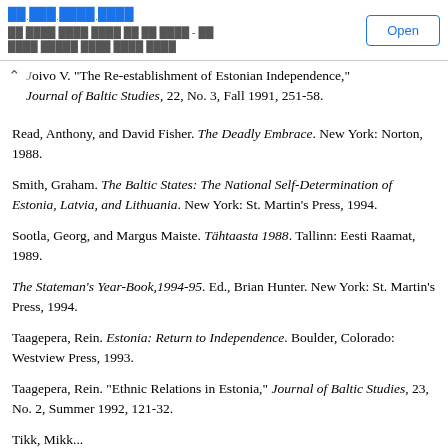Open
oivo V. "The Re-establishment of Estonian Independence," Journal of Baltic Studies, 22, No. 3, Fall 1991, 251-58.
Read, Anthony, and David Fisher. The Deadly Embrace. New York: Norton, 1988.
Smith, Graham. The Baltic States: The National Self-Determination of Estonia, Latvia, and Lithuania. New York: St. Martin's Press, 1994.
Sootla, Georg, and Margus Maiste. Tähtaasta 1988. Tallinn: Eesti Raamat, 1989.
The Stateman's Year-Book,1994-95. Ed., Brian Hunter. New York: St. Martin's Press, 1994.
Taagepera, Rein. Estonia: Return to Independence. Boulder, Colorado: Westview Press, 1993.
Taagepera, Rein. "Ethnic Relations in Estonia," Journal of Baltic Studies, 23, No. 2, Summer 1992, 121-32.
Tikk, Mikk...